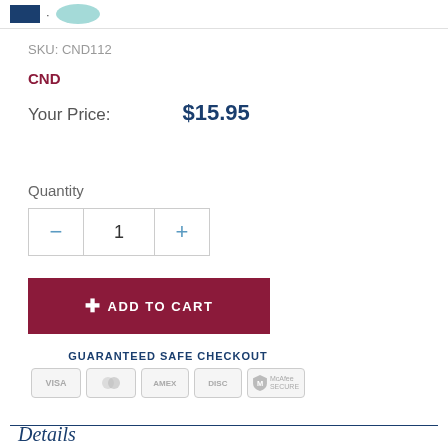SKU: CND112
CND
Your Price:   $15.95
Quantity
− 1 +
+ ADD TO CART
GUARANTEED SAFE CHECKOUT
[Figure (infographic): Payment method icons: VISA, Mastercard, American Express, Discover, McAfee Secure]
Details